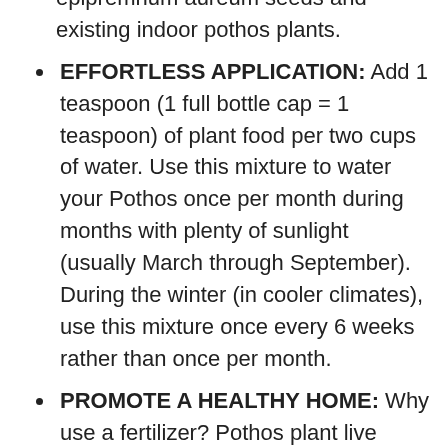epipremnum aureum seeds and existing indoor pothos plants.
EFFORTLESS APPLICATION: Add 1 teaspoon (1 full bottle cap = 1 teaspoon) of plant food per two cups of water. Use this mixture to water your Pothos once per month during months with plenty of sunlight (usually March through September). During the winter (in cooler climates), use this mixture once every 6 weeks rather than once per month.
PROMOTE A HEALTHY HOME: Why use a fertilizer? Pothos plant live growth improvements occur when nutrient-based food is included into standard maintenance regiment (such as natural light exposure and frequent watering). A healthier plant produces more oxygen in comparison to a